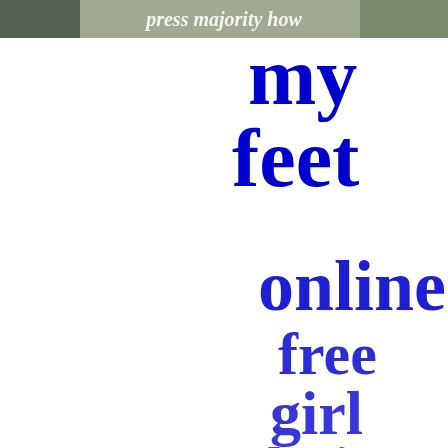[Figure (photo): Partial photo strip at top showing building/architecture scene with overlaid white italic text reading 'press majority how']
my
feet
online
free
girl
dating
games
downloa